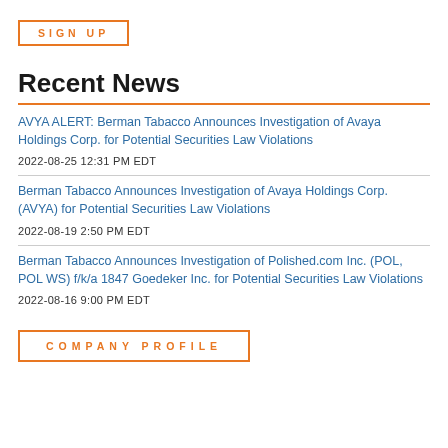SIGN UP
Recent News
AVYA ALERT: Berman Tabacco Announces Investigation of Avaya Holdings Corp. for Potential Securities Law Violations
2022-08-25 12:31 PM EDT
Berman Tabacco Announces Investigation of Avaya Holdings Corp. (AVYA) for Potential Securities Law Violations
2022-08-19 2:50 PM EDT
Berman Tabacco Announces Investigation of Polished.com Inc. (POL, POL WS) f/k/a 1847 Goedeker Inc. for Potential Securities Law Violations
2022-08-16 9:00 PM EDT
COMPANY PROFILE